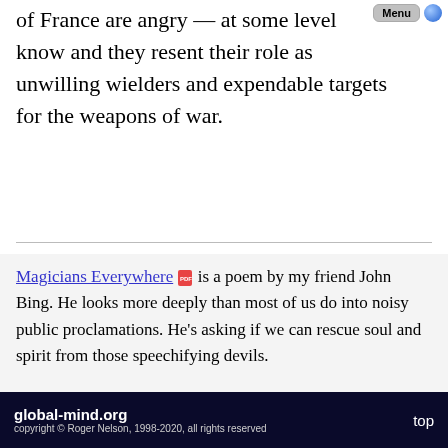of France are angry — at some level know and they resent their role as unwilling wielders and expendable targets for the weapons of war.
Magicians Everywhere [pdf icon] is a poem by my friend John Bing. He looks more deeply than most of us do into noisy public proclamations. He's asking if we can rescue soul and spirit from those speechifying devils.
Wage Peace Campaign [ext icon] by the American Friends Service Committee brings compassion to the fore. Their Wage Peace Movie is
global-mind.org
copyright © Roger Nelson, 1998-2020, all rights reserved
top